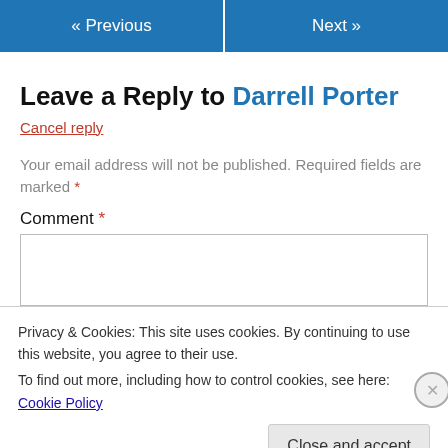« Previous   Next »
Leave a Reply to Darrell Porter
Cancel reply
Your email address will not be published. Required fields are marked *
Comment *
Privacy & Cookies: This site uses cookies. By continuing to use this website, you agree to their use. To find out more, including how to control cookies, see here: Cookie Policy
Close and accept